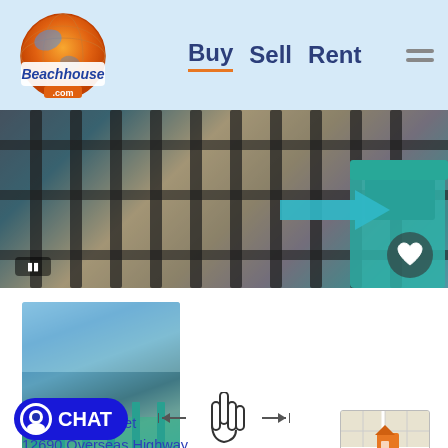[Figure (screenshot): Beachhouse.com website header with logo, Buy/Sell/Rent navigation links, and hamburger menu on light blue background]
[Figure (photo): Main property photo showing metal railing/fence with a teal arrow indicator and heart icon, waterfront location]
[Figure (photo): Thumbnail of balcony view with water/ocean visible, teal railings]
Tap to see more photos
Condo Off Market
12690 Overseas Highway
Marathon, Florida 33050
Waterfront: Yes
Water View: Yes
Monroe County
[Figure (map): Small map thumbnail with orange house marker and MAP label button]
CHAT